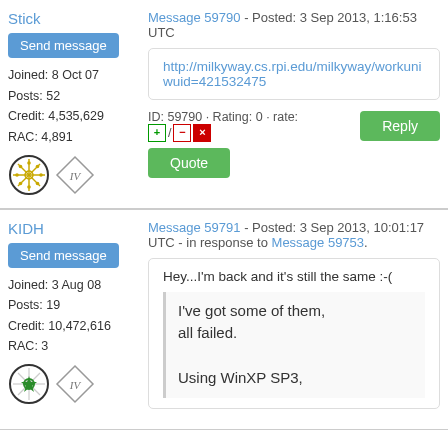Stick
Send message
Joined: 8 Oct 07
Posts: 52
Credit: 4,535,629
RAC: 4,891
Message 59790 - Posted: 3 Sep 2013, 1:16:53 UTC
http://milkyway.cs.rpi.edu/milkyway/workunit...wuid=421532475
ID: 59790 · Rating: 0 · rate: +/−/×
Reply
Quote
KIDH
Send message
Joined: 3 Aug 08
Posts: 19
Credit: 10,472,616
RAC: 3
Message 59791 - Posted: 3 Sep 2013, 10:01:17 UTC - in response to Message 59753.
Hey...I'm back and it's still the same :-(
I've got some of them, all failed.

Using WinXP SP3,